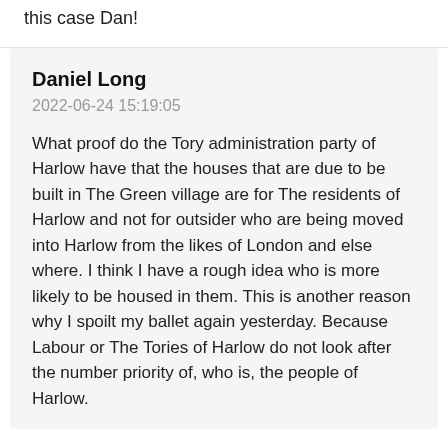this case Dan!
Daniel Long
2022-06-24 15:19:05
What proof do the Tory administration party of Harlow have that the houses that are due to be built in The Green village are for The residents of Harlow and not for outsider who are being moved into Harlow from the likes of London and else where. I think I have a rough idea who is more likely to be housed in them. This is another reason why I spoilt my ballet again yesterday. Because Labour or The Tories of Harlow do not look after the number priority of, who is, the people of Harlow.
Leave a Comment Below: